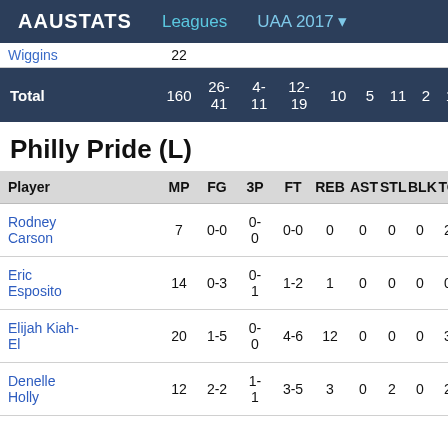AAUSTATS   Leagues   UAA 2017 ▾
| Player | MP | FG | 3P | FT | REB | AST | STL | BLK | TO | PF |
| --- | --- | --- | --- | --- | --- | --- | --- | --- | --- | --- |
| Wiggins | 22 | ... |  |  |  |  |  |  |  |  |
| Total | 160 | 26-41 | 4-11 | 12-19 | 10 | 5 | 11 | 2 | 10 | 20 |
Philly Pride (L)
| Player | MP | FG | 3P | FT | REB | AST | STL | BLK | TO | PF |
| --- | --- | --- | --- | --- | --- | --- | --- | --- | --- | --- |
| Rodney Carson | 7 | 0-0 | 0-0 | 0-0 | 0 | 0 | 0 | 0 | 2 | 1 |
| Eric Esposito | 14 | 0-3 | 0-1 | 1-2 | 1 | 0 | 0 | 0 | 0 | 1 |
| Elijah Kiah-El | 20 | 1-5 | 0-0 | 4-6 | 12 | 0 | 0 | 0 | 3 | 4 |
| Denelle Holly | 12 | 2-2 | 1-1 | 3-5 | 3 | 0 | 2 | 0 | 2 | 2 |